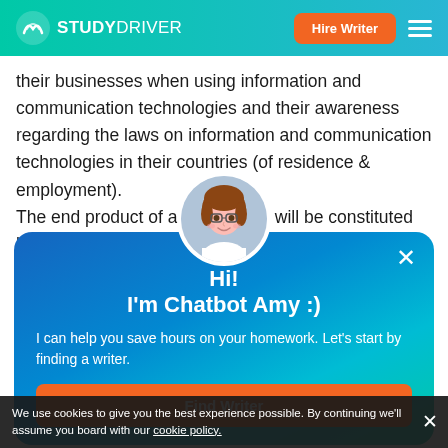STUDYDRIVER — Hire Writer
their businesses when using information and communication technologies and their awareness regarding the laws on information and communication technologies in their countries (of residence & employment).
The end product of a qu[estionnaire] will be constituted by statistical analyses, tabl[es] and illustrative
[Figure (illustration): Chatbot avatar: illustrated female figure with brown hair, glasses, white blouse, in a circular frame]
Hi!
I'm Chatbot Amy :)
I can help you save hours on your homework. Let's start by finding a writer.
Find Writer
We use cookies to give you the best experience possible. By continuing we'll assume you board with our cookie policy.
Responses were generated from [respondents residing in] countries like the United Kingdom, India, Egypt, Chin[a]